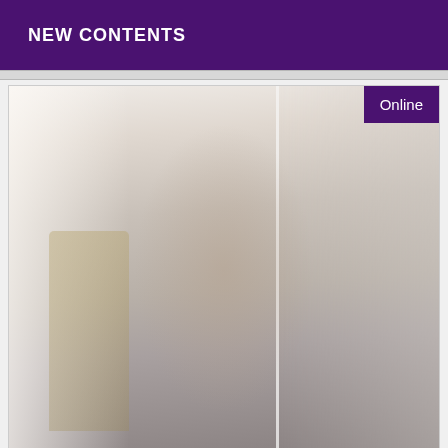NEW CONTENTS
[Figure (photo): A woman in dark lingerie posing in front of a mirror in an indoor setting with decorative plants in the background. An 'Online' badge appears in the top-right corner of the photo.]